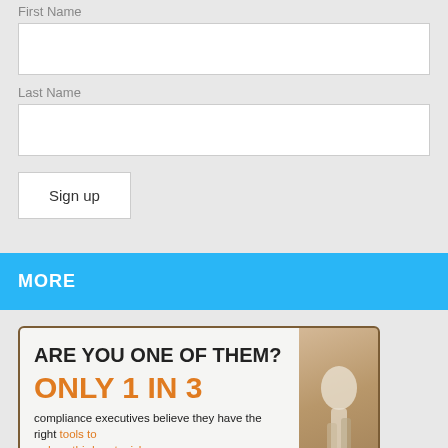First Name
Last Name
Sign up
MORE
[Figure (infographic): Promotional infographic with text: ARE YOU ONE OF THEM? ONLY 1 IN 3 compliance executives believe they have the right tools to reduce third party risks]